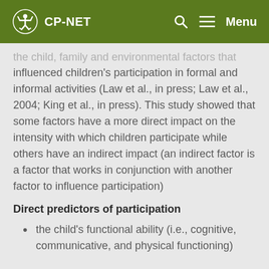CP-NET
the child, family and environmental factors that influenced children's participation in formal and informal activities (Law et al., in press; Law et al., 2004; King et al., in press). This study showed that some factors have a more direct impact on the intensity with which children participate while others have an indirect impact (an indirect factor is a factor that works in conjunction with another factor to influence participation)
Direct predictors of participation
the child's functional ability (i.e., cognitive, communicative, and physical functioning)